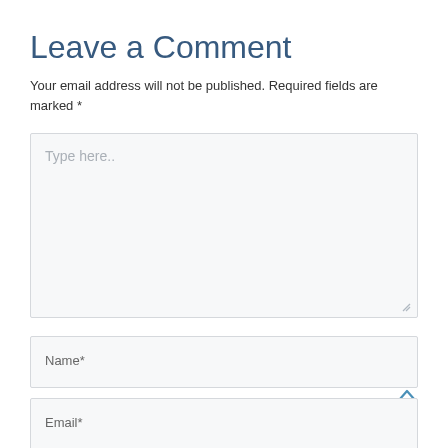Leave a Comment
Your email address will not be published. Required fields are marked *
[Figure (screenshot): Large textarea input box with placeholder text 'Type here..' and a resize handle at bottom-right corner]
[Figure (screenshot): Text input field with placeholder label 'Name*']
[Figure (screenshot): Text input field with placeholder label 'Email*']